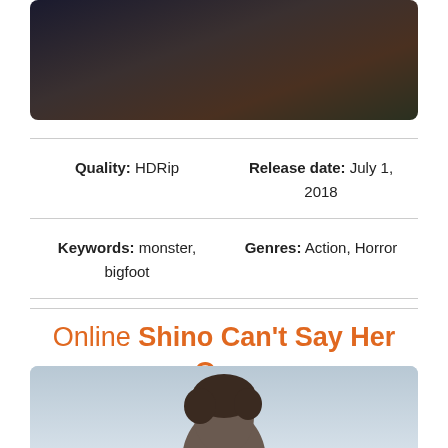[Figure (photo): Movie still showing dark scene with figures in jackets and outdoor setting]
Quality: HDRip    Release date: July 1, 2018
Keywords: monster, bigfoot    Genres: Action, Horror
Online Shino Can't Say Her Own Name Full Movie Free
[Figure (photo): Partial photo showing top of a person's head, appears to be movie still or poster for Shino Can't Say Her Own Name]